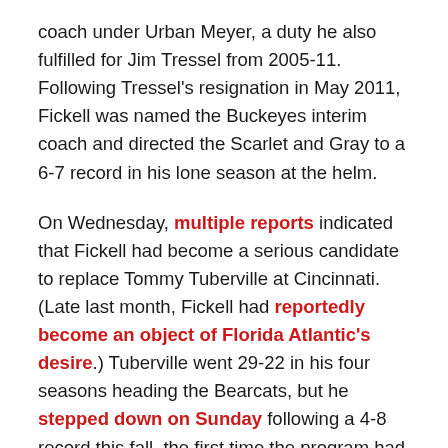coach under Urban Meyer, a duty he also fulfilled for Jim Tressel from 2005-11. Following Tressel's resignation in May 2011, Fickell was named the Buckeyes interim coach and directed the Scarlet and Gray to a 6-7 record in his lone season at the helm.
On Wednesday, multiple reports indicated that Fickell had become a serious candidate to replace Tommy Tuberville at Cincinnati. (Late last month, Fickell had reportedly become an object of Florida Atlantic's desire.) Tuberville went 29-22 in his four seasons heading the Bearcats, but he stepped down on Sunday following a 4-8 record this fall, the first time the program had failed to qualify for a bowl game since 2010.
Fickell, a four-year starter at nose tackle for Ohio State